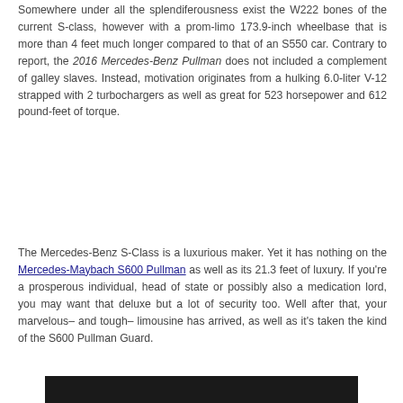Somewhere under all the splendiferousness exist the W222 bones of the current S-class, however with a prom-limo 173.9-inch wheelbase that is more than 4 feet much longer compared to that of an S550 car. Contrary to report, the 2016 Mercedes-Benz Pullman does not included a complement of galley slaves. Instead, motivation originates from a hulking 6.0-liter V-12 strapped with 2 turbochargers as well as great for 523 horsepower and 612 pound-feet of torque.
The Mercedes-Benz S-Class is a luxurious maker. Yet it has nothing on the Mercedes-Maybach S600 Pullman as well as its 21.3 feet of luxury. If you're a prosperous individual, head of state or possibly also a medication lord, you may want that deluxe but a lot of security too. Well after that, your marvelous– and tough– limousine has arrived, as well as it's taken the kind of the S600 Pullman Guard.
[Figure (photo): Dark/black image area at the bottom of the page, partially visible]